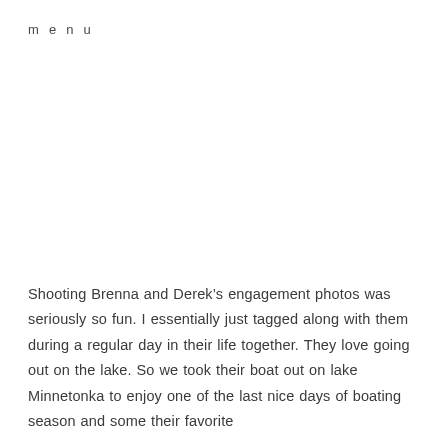menu
Shooting Brenna and Derek’s engagement photos was seriously so fun. I essentially just tagged along with them during a regular day in their life together. They love going out on the lake. So we took their boat out on lake Minnetonka to enjoy one of the last nice days of boating season and some their favorite